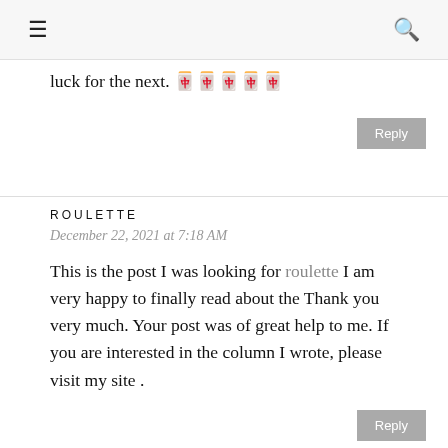≡  🔍
luck for the next. 🀄🀄🀄🀄🀄
ROULETTE
December 22, 2021 at 7:18 AM
This is the post I was looking for roulette I am very happy to finally read about the Thank you very much. Your post was of great help to me. If you are interested in the column I wrote, please visit my site .